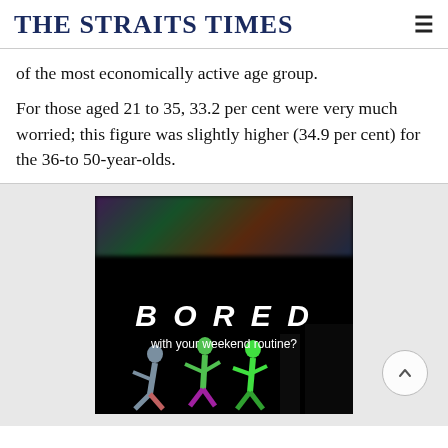THE STRAITS TIMES
of the most economically active age group.
For those aged 21 to 35, 33.2 per cent were very much worried; this figure was slightly higher (34.9 per cent) for the 36-to 50-year-olds.
[Figure (photo): Advertisement image with dark background showing text 'BORED with your weekend routine?' and animated dancer figures in colorful costumes at the bottom.]